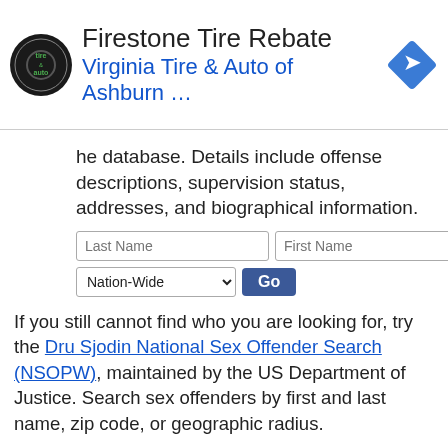[Figure (screenshot): Advertisement banner for Firestone Tire Rebate / Virginia Tire & Auto of Ashburn]
he database. Details include offense descriptions, supervision status, addresses, and biographical information.
[Figure (screenshot): Search form with Last Name, First Name text inputs, Nation-Wide dropdown, and Go button]
If you still cannot find who you are looking for, try the Dru Sjodin National Sex Offender Search (NSOPW), maintained by the US Department of Justice. Search sex offenders by first and last name, zip code, or geographic radius.
BANGOR, Maine Crime Rates
http://www.insideprison.com/city_crime_statistics.asp?cityCaseR=Bangor&stateNorm=ME&zipC=4401
Click above to view a range of crime rate statistics